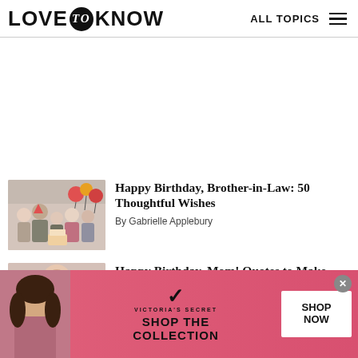LOVE to KNOW   ALL TOPICS
[Figure (other): Empty ad placeholder area (white space)]
[Figure (photo): Family birthday photo with balloons and birthday cake]
Happy Birthday, Brother-in-Law: 50 Thoughtful Wishes
By Gabrielle Applebury
[Figure (photo): Woman portrait for Happy Birthday Mom article]
Happy Birthday, Mom! Quotes to Make
[Figure (photo): Victoria's Secret advertisement banner featuring a woman model with text: SHOP THE COLLECTION, SHOP NOW]